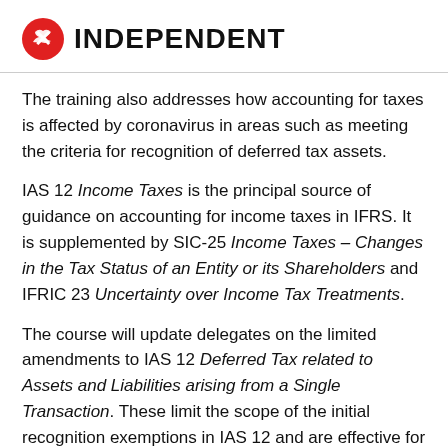INDEPENDENT
The training also addresses how accounting for taxes is affected by coronavirus in areas such as meeting the criteria for recognition of deferred tax assets.
IAS 12 Income Taxes is the principal source of guidance on accounting for income taxes in IFRS. It is supplemented by SIC-25 Income Taxes – Changes in the Tax Status of an Entity or its Shareholders and IFRIC 23 Uncertainty over Income Tax Treatments.
The course will update delegates on the limited amendments to IAS 12 Deferred Tax related to Assets and Liabilities arising from a Single Transaction. These limit the scope of the initial recognition exemptions in IAS 12 and are effective for annual periods beginning on or after 1 January 2023.